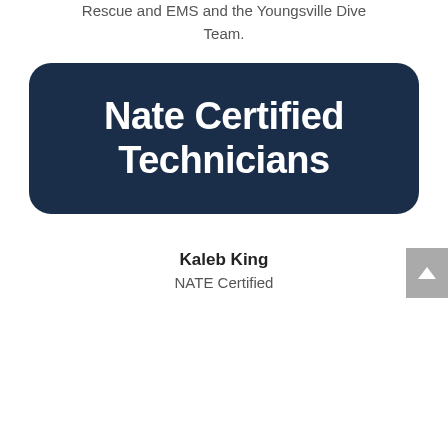Rescue and EMS and the Youngsville Dive Team.
[Figure (other): Dark navy blue rounded rectangle badge with white bold text reading 'Nate Certified Technicians']
Kaleb King
NATE Certified